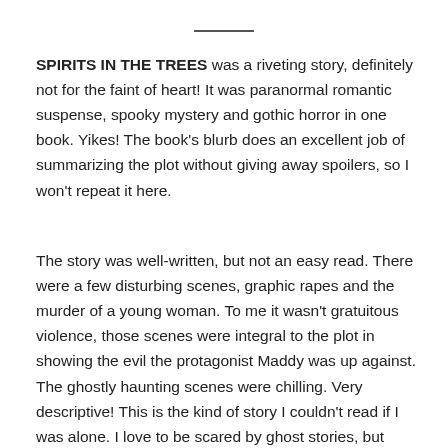SPIRITS IN THE TREES was a riveting story, definitely not for the faint of heart! It was paranormal romantic suspense, spooky mystery and gothic horror in one book. Yikes! The book's blurb does an excellent job of summarizing the plot without giving away spoilers, so I won't repeat it here.
The story was well-written, but not an easy read. There were a few disturbing scenes, graphic rapes and the murder of a young woman. To me it wasn't gratuitous violence, those scenes were integral to the plot in showing the evil the protagonist Maddy was up against. The ghostly haunting scenes were chilling. Very descriptive! This is the kind of story I couldn't read if I was alone. I love to be scared by ghost stories, but when it comes down to it, I'm